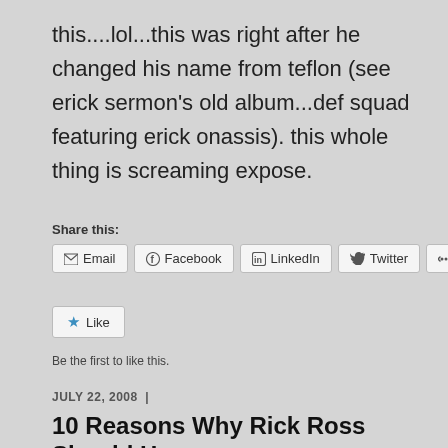this....lol...this was right after he changed his name from teflon (see erick sermon's old album...def squad featuring erick onassis). this whole thing is screaming expose.
Share this:
Email | Facebook | LinkedIn | Twitter | More
Like
Be the first to like this.
JULY 22, 2008  |
10 Reasons Why Rick Ross Should Have